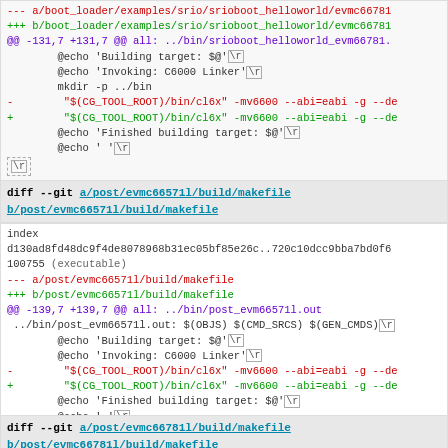--- a/boot_loader/examples/srio/srioboot_helloworld/evmc66781
+++ b/boot_loader/examples/srio/srioboot_helloworld/evmc66781
@@ -131,7 +131,7 @@ all: ../bin/srioboot_helloworld_evm66781.
    @echo 'Building target: $@' \r
    @echo 'Invoking: C6000 Linker' \r
    mkdir -p ../bin
-        "$(CG_TOOL_ROOT)/bin/cl6x" -mv6600 --abi=eabi -g --de
+        "$(CG_TOOL_ROOT)/bin/cl6x" -mv6600 --abi=eabi -g --de
    @echo 'Finished building target: $@' \r
    @echo ' ' \r
 \r
diff --git a/post/evmc66571/build/makefile b/post/evmc66571/build/makefile
index d130ad8fd48dc9f4de8078968b31ec05bf85e26c..720c10dcc9bba7bd0f6 100755 (executable)
--- a/post/evmc66571/build/makefile
+++ b/post/evmc66571/build/makefile
@@ -139,7 +139,7 @@ all: ../bin/post_evm66571l.out
 ../bin/post_evm66571l.out: $(OBJS) $(CMD_SRCS) $(GEN_CMDS) \r
    @echo 'Building target: $@' \r
    @echo 'Invoking: C6000 Linker' \r
-        "$(CG_TOOL_ROOT)/bin/cl6x" -mv6600 --abi=eabi -g --de
+        "$(CG_TOOL_ROOT)/bin/cl6x" -mv6600 --abi=eabi -g --de
    @echo 'Finished building target: $@' \r
    @echo ' ' \r
 \r
diff --git a/post/evmc66781/build/makefile b/post/evmc66781/build/makefile